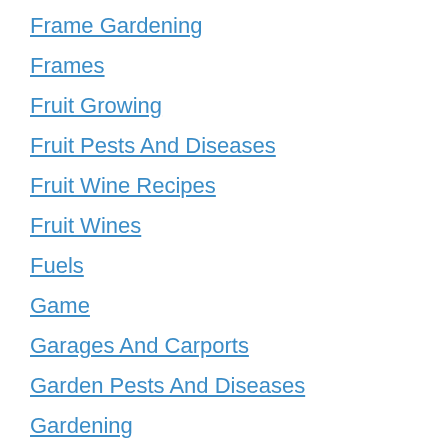Frame Gardening
Frames
Fruit Growing
Fruit Pests And Diseases
Fruit Wine Recipes
Fruit Wines
Fuels
Game
Garages And Carports
Garden Pests And Diseases
Gardening
Gardening Calendar
Gerbils